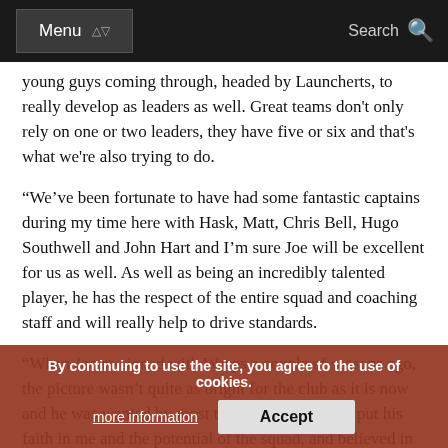Menu | Search
young guys coming through, headed by Launcherts, to really develop as leaders as well. Great teams don't only rely on one or two leaders, they have five or six and that's what we're also trying to do.
“We’ve been fortunate to have had some fantastic captains during my time here with Hask, Matt, Chris Bell, Hugo Southwell and John Hart and I’m sure Joe will be excellent for us as well. As well as being an incredibly talented player, he has the respect of the entire squad and coaching staff and will really help to drive standards.
“When Joe re-signed with Wasps a couple of seasons ago, the picture wasn’t quite as bright for the club as it is now and he was wanted by most teams in Europe. He put his faith in me and the potential of the squad, and believed in the vision Derek and I had for the club. That showed tremendous commitment and loyalty to the club and his team mates. That’s players you want forming the backbone of a team and taking the club forwards.”
By continuing to use the site, you agree to the use of cookies. more information | Accept